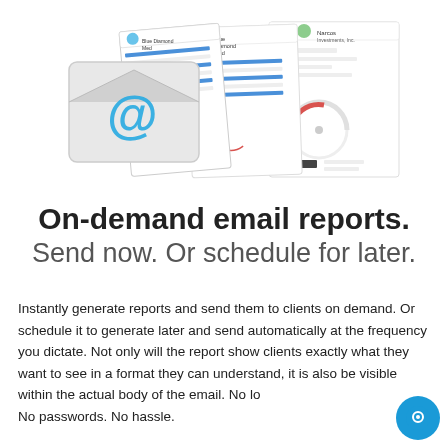[Figure (illustration): Illustration showing a white envelope with a blue '@' symbol and several financial report document previews fanned out behind it, representing email report delivery.]
On-demand email reports.
Send now. Or schedule for later.
Instantly generate reports and send them to clients on demand. Or schedule it to generate later and send automatically at the frequency you dictate. Not only will the report show clients exactly what they want to see in a format they can understand, it is also be visible within the actual body of the email. No lo
No passwords. No hassle.